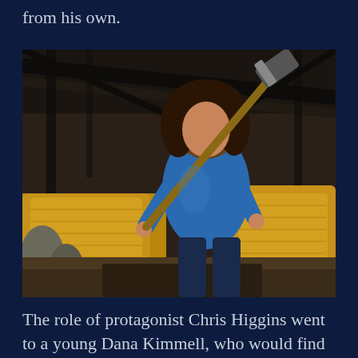from his own.
[Figure (photo): A young woman with curly dark hair wearing a blue sweater and dark jeans, holding a large axe over her shoulder, standing in a barn with hay bales in the background.]
The role of protagonist Chris Higgins went to a young Dana Kimmell, who would find regular